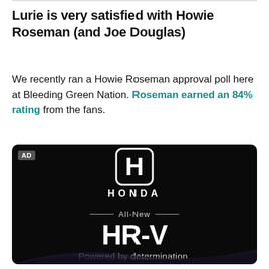Lurie is very satisfied with Howie Roseman (and Joe Douglas)
We recently ran a Howie Roseman approval poll here at Bleeding Green Nation. Roseman earned an 84% rating from the fans.
[Figure (other): Honda advertisement showing Honda logo, HONDA wordmark, 'All-New' separator line, 'HR-V' large text, and 'Powered by determination.' tagline on a black background with dark swoosh graphic at bottom.]